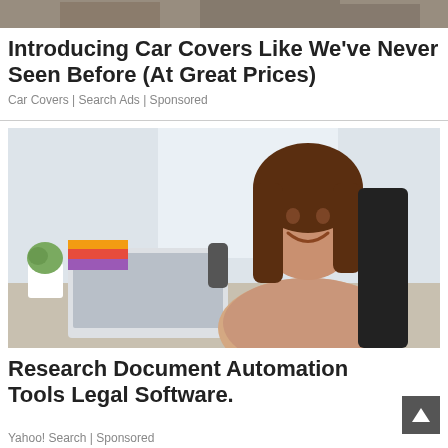[Figure (photo): Partial cropped image at top of page showing people or a scene, partially visible]
Introducing Car Covers Like We've Never Seen Before (At Great Prices)
Car Covers | Search Ads | Sponsored
[Figure (photo): Woman with brown hair sitting at a desk smiling, working on a laptop in an office setting]
Research Document Automation Tools Legal Software.
Yahoo! Search | Sponsored